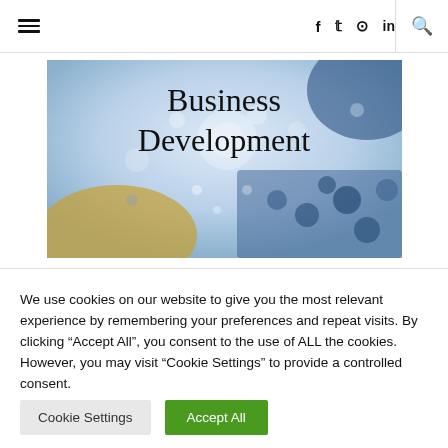≡  f  twitter  instagram  in  🔍
[Figure (illustration): Decorative image with blue and gold snowflake/crystal patterns with text 'Business Development' overlaid in serif font]
We use cookies on our website to give you the most relevant experience by remembering your preferences and repeat visits. By clicking "Accept All", you consent to the use of ALL the cookies. However, you may visit "Cookie Settings" to provide a controlled consent.
Cookie Settings  Accept All